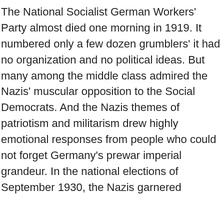The National Socialist German Workers' Party almost died one morning in 1919. It numbered only a few dozen grumblers' it had no organization and no political ideas. But many among the middle class admired the Nazis' muscular opposition to the Social Democrats. And the Nazis themes of patriotism and militarism drew highly emotional responses from people who could not forget Germany's prewar imperial grandeur. In the national elections of September 1930, the Nazis garnered